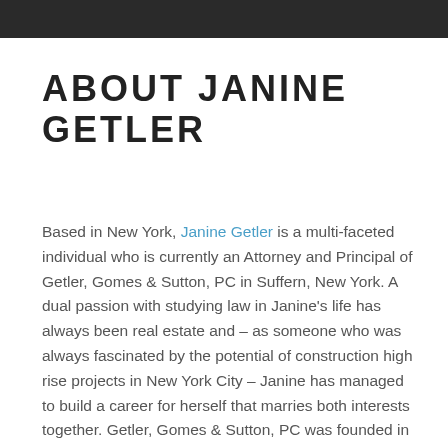[header image bar]
ABOUT JANINE GETLER
Based in New York, Janine Getler is a multi-faceted individual who is currently an Attorney and Principal of Getler, Gomes & Sutton, PC in Suffern, New York. A dual passion with studying law in Janine’s life has always been real estate and – as someone who was always fascinated by the potential of construction high rise projects in New York City – Janine has managed to build a career for herself that marries both interests together. Getler, Gomes & Sutton, PC was founded in June of 2009, and over the last decade, Janine and her team have been building the firm into a powerhouse in the